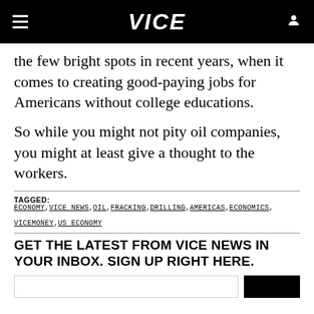VICE
the few bright spots in recent years, when it comes to creating good-paying jobs for Americans without college educations.
So while you might not pity oil companies, you might at least give a thought to the workers.
TAGGED: ECONOMY, VICE NEWS, OIL, FRACKING, DRILLING, AMERICAS, ECONOMICS, VICEMONEY, US ECONOMY
GET THE LATEST FROM VICE NEWS IN YOUR INBOX. SIGN UP RIGHT HERE.